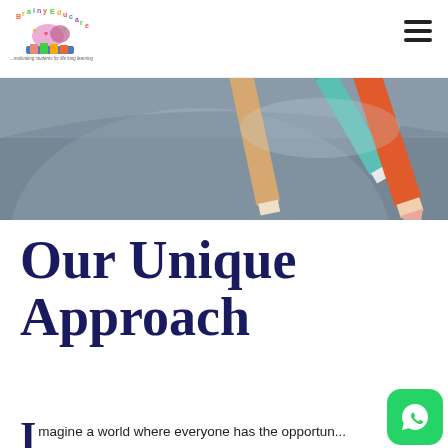[Figure (logo): BrainyEducare logo with colorful brain and books icon and tagline '...motivating students for life long learning']
[Figure (photo): Close-up photo of colored pencils (red, peach/tan, and teal/green) against a gray background]
Our Unique Approach
magine a world where everyone has the opportun...